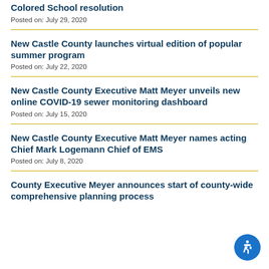Colored School resolution
Posted on: July 29, 2020
New Castle County launches virtual edition of popular summer program
Posted on: July 22, 2020
New Castle County Executive Matt Meyer unveils new online COVID-19 sewer monitoring dashboard
Posted on: July 15, 2020
New Castle County Executive Matt Meyer names acting Chief Mark Logemann Chief of EMS
Posted on: July 8, 2020
County Executive Meyer announces start of county-wide comprehensive planning process